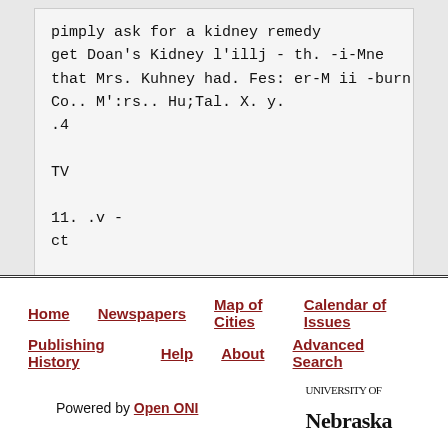pimply ask for a kidney remedy
get Doan's Kidney l'illj - th. -i-Mne
that Mrs. Kuhney had. Fes: er-M ii -burn
Co.. M':rs.. Hu;Tal. X. y.
.4
TV
11. .v -
ct
r
Home | Newspapers | Map of Cities | Calendar of Issues | Publishing History | Help | About | Advanced Search | Powered by Open ONI | University of Nebraska